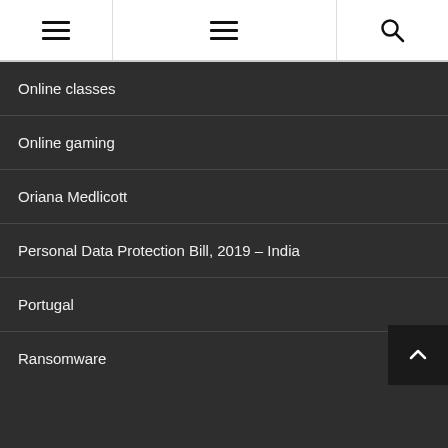Navigation bar with menu and search icons
Online classes
Online gaming
Oriana Medlicott
Personal Data Protection Bill, 2019 – India
Portugal
Ransomware